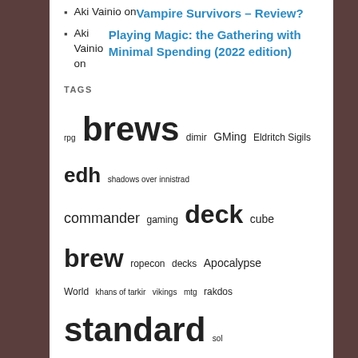Aki Vainio on Vampire Survivors – Review?
Aki Vainio on Playing Magic: the Gathering with Minimal Spending (2022 edition)
TAGS
rpg brews dimir GMing Eldritch Sigils edh shadows over innistrad commander gaming deck cube brew ropecon decks Apocalypse World khans of tarkir vikings mtg rakdos standard sol
CATEGORIES
Select Category
ARCHIVES
Select Month
RANDOM POSTS